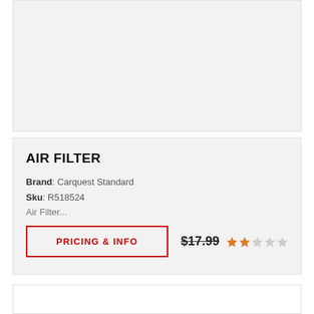[Figure (other): Top product card placeholder area (empty gray box)]
AIR FILTER
Brand: Carquest Standard
Sku: R518524
Air Filter...
PRICING & INFO   $17.99   ★★☆☆☆
[Figure (other): Bottom product card placeholder area (empty white box)]